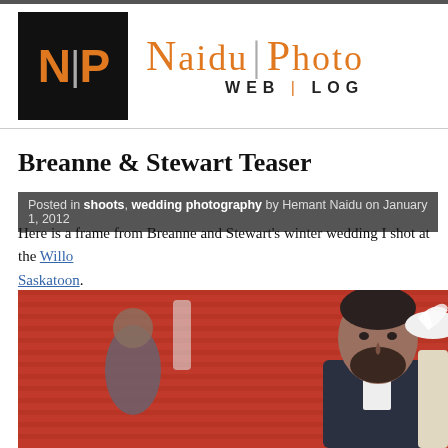NP Naidu|Photo WEB|LOG
Breanne & Stewart Teaser
Posted in shoots, wedding photography by Hemant Naidu on January 1, 2012
Here is a frame from Breanne and Stewart's winter wedding I shot at the Willow... Saskatoon.
[Figure (photo): Wedding photo of a bearded groom in a suit, with a woman wearing a white feathered hat, standing outdoors against a corrugated red/orange wall, with another person visible in background]